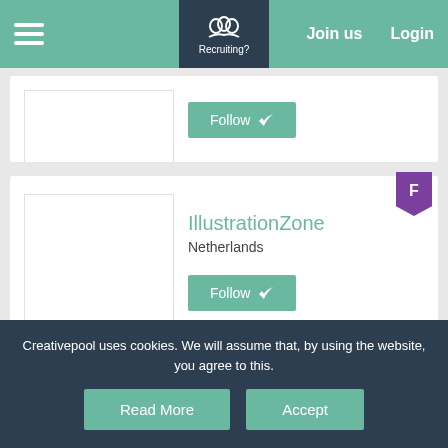[Figure (screenshot): Navigation bar with hamburger menu on the left, Recruiting? icon in the center dark panel, and Join us / Login links on the right, all on teal background]
[Figure (screenshot): Card with blank image placeholder and Follow button on teal background]
[Figure (screenshot): Card for IllustrationZone with blank image placeholder, purple F badge, organization name, Netherlands location text, and Follow button]
Creativepool uses cookies. We will assume that, by using the website, you agree to this.
Read More
Accept